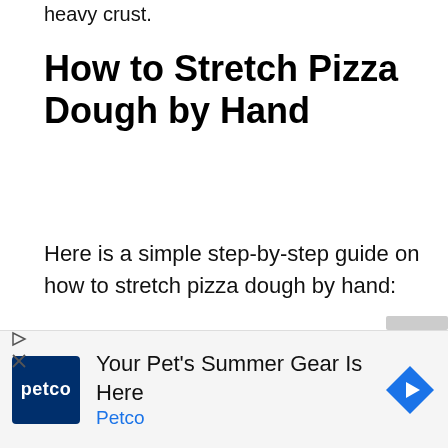heavy crust.
How to Stretch Pizza Dough by Hand
Here is a simple step-by-step guide on how to stretch pizza dough by hand:
Cover your clean countertop with flour.
Place the prepared pizza dough ball on the countertop and cover it completely with dough.
[Figure (infographic): Petco advertisement banner: Petco logo (dark blue square with 'petco' text), headline 'Your Pet’s Summer Gear Is Here', brand name 'Petco' in blue, and a blue diamond-shaped navigation icon on the right.]